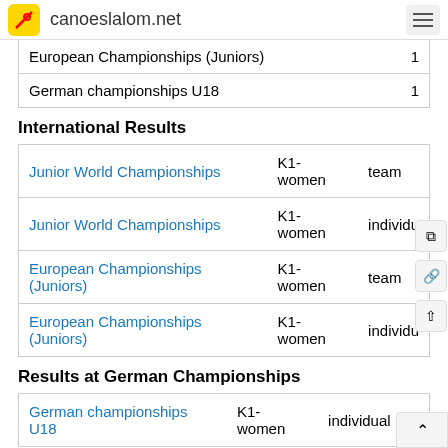canoeslalom.net
| European Championships (Juniors) | 1 |
| German championships U18 | 1 |
International Results
| Junior World Championships | K1-women | team |
| Junior World Championships | K1-women | individu |
| European Championships (Juniors) | K1-women | team |
| European Championships (Juniors) | K1-women | individu |
Results at German Championships
| German championships U18 | K1-women | individual | 1 |
2011
Medals
| gold | silver | bronze |
| --- | --- | --- |